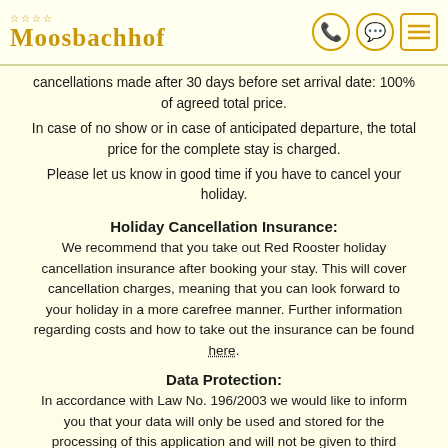Moosbachhof
Cancellations made after 30 days before set arrival date: 100% of agreed total price.
In case of no show or in case of anticipated departure, the total price for the complete stay is charged.
Please let us know in good time if you have to cancel your holiday.
Holiday Cancellation Insurance:
We recommend that you take out Red Rooster holiday cancellation insurance after booking your stay. This will cover cancellation charges, meaning that you can look forward to your holiday in a more carefree manner. Further information regarding costs and how to take out the insurance can be found here.
Data Protection:
In accordance with Law No. 196/2003 we would like to inform you that your data will only be used and stored for the processing of this application and will not be given to third